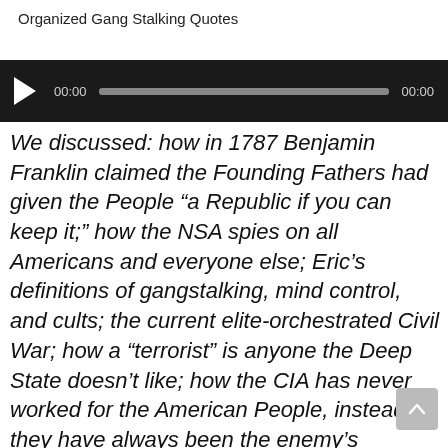Organized Gang Stalking Quotes
[Figure (other): Audio player with play button, timestamp 00:00, progress bar, and end time 00:00]
We discussed: how in 1787 Benjamin Franklin claimed the Founding Fathers had given the People “a Republic if you can keep it;” how the NSA spies on all Americans and everyone else; Eric’s definitions of gangstalking, mind control, and cults; the current elite-orchestrated Civil War; how a “terrorist” is anyone the Deep State doesn’t like; how the CIA has never worked for the American People, instead they have always been the enemy’s (financial elite/master cult’s) private army; the Jewish Utopia-Jewish Universal Empire under the Noahide Laws as ultimate goal of the Jude Masonic-Illiminati-satanic elite; how 5G is being